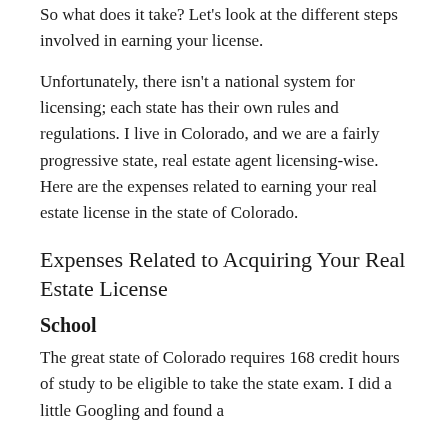So what does it take? Let's look at the different steps involved in earning your license.
Unfortunately, there isn't a national system for licensing; each state has their own rules and regulations. I live in Colorado, and we are a fairly progressive state, real estate agent licensing-wise. Here are the expenses related to earning your real estate license in the state of Colorado.
Expenses Related to Acquiring Your Real Estate License
School
The great state of Colorado requires 168 credit hours of study to be eligible to take the state exam. I did a little Googling and found a